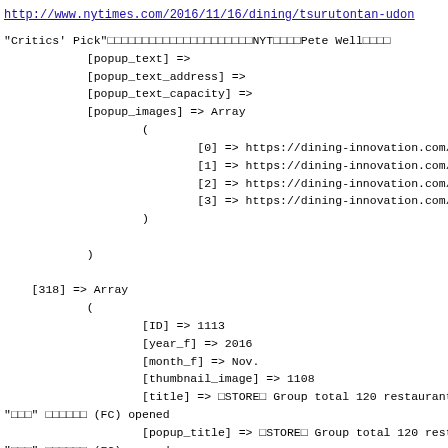http://www.nytimes.com/2016/11/16/dining/tsurutontan-udon...
"Critics' Pick"□□□□□□□□□□□□□□□□□□□□□NYT□□□□Pete Well□□□□
            [popup_text] =>
            [popup_text_address] =>
            [popup_text_capacity] =>
            [popup_images] => Array
                    (
                            [0] => https://dining-innovation.com/...
                            [1] => https://dining-innovation.com/...
                            [2] => https://dining-innovation.com/...
                            [3] => https://dining-innovation.com/...
                    )

            )

    [318] => Array
            (
                    [ID] => 1113
                    [year_f] => 2016
                    [month_f] => Nov.
                    [thumbnail_image] => 1108
                    [title] => □STORE□ Group total 120 restaurant...
"□□□" □□□□□□ (FC) opened
                    [popup_title] => □STORE□ Group total 120 rest...
"□□□" □□□□□□ (FC) opened
                    [popup_text] => Address□  3-3-19 Hibarigaoka...